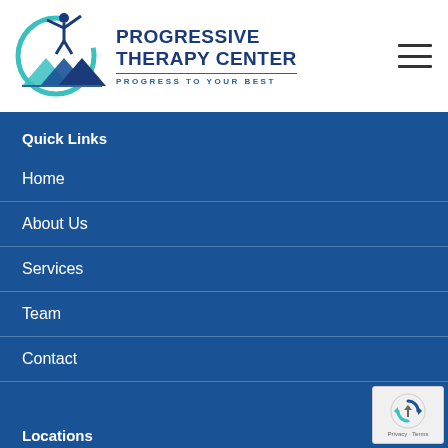[Figure (logo): Progressive Therapy Center logo with teal circle, figure with arms raised, mountain chevron shapes, and text 'PROGRESSIVE THERAPY CENTER - PROGRESS TO YOUR BEST']
Quick Links
Home
About Us
Services
Team
Contact
Locations